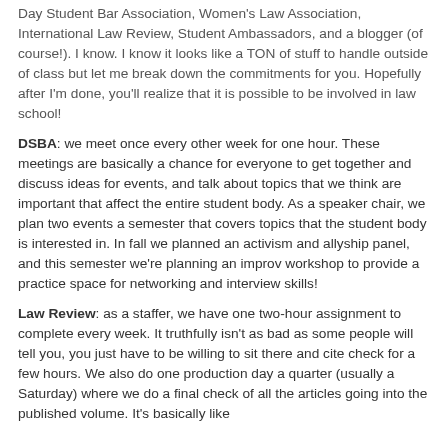Day Student Bar Association, Women's Law Association, International Law Review, Student Ambassadors, and a blogger (of course!). I know. I know it looks like a TON of stuff to handle outside of class but let me break down the commitments for you. Hopefully after I'm done, you'll realize that it is possible to be involved in law school!
DSBA: we meet once every other week for one hour. These meetings are basically a chance for everyone to get together and discuss ideas for events, and talk about topics that we think are important that affect the entire student body. As a speaker chair, we plan two events a semester that covers topics that the student body is interested in. In fall we planned an activism and allyship panel, and this semester we're planning an improv workshop to provide a practice space for networking and interview skills!
Law Review: as a staffer, we have one two-hour assignment to complete every week. It truthfully isn't as bad as some people will tell you, you just have to be willing to sit there and cite check for a few hours. We also do one production day a quarter (usually a Saturday) where we do a final check of all the articles going into the published volume. It's basically like